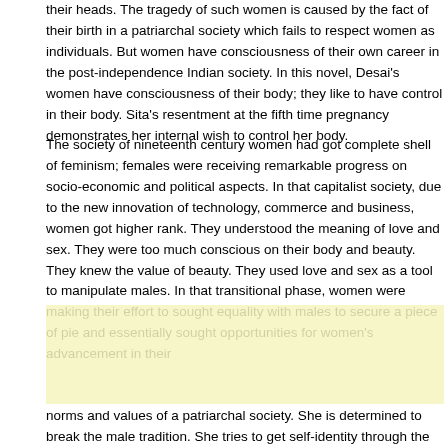their heads. The tragedy of such women is caused by the fact of their birth in a patriarchal society which fails to respect women as individuals. But women have consciousness of their own career in the post-independence Indian society. In this novel, Desai's women have consciousness of their body; they like to have control in their body. Sita's resentment at the fifth time pregnancy demonstrates her internal wish to control her body.
The society of nineteenth century women had got complete shell of feminism; females were receiving remarkable progress on socio-economic and political aspects. In that capitalist society, due to the new innovation of technology, commerce and business, women got higher rank. They understood the meaning of love and sex. They were too much conscious on their body and beauty. They knew the value of beauty. They used love and sex as a tool to manipulate males. In that transitional phase, women were making their effort to sought equality with males to secure a piece of pie and essentially sought opportunities for women's advancement in their
[Figure (other): Yellow highlighted/annotation box covering a portion of text]
norms and values of a patriarchal society. She is determined to break the male tradition. She tries to get self-identity through the path of